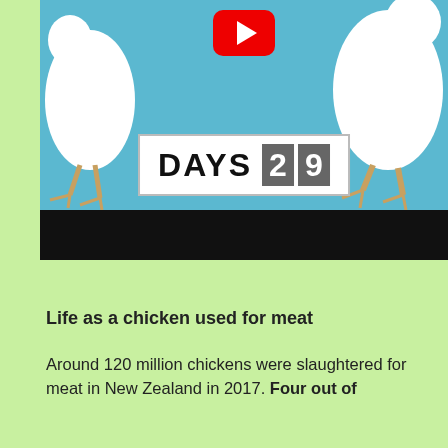[Figure (screenshot): YouTube video thumbnail showing two white chickens on a light blue background with a YouTube play button at the top center. A white countdown box in the center reads 'DAYS 29'. A black bar runs across the bottom of the video frame.]
Life as a chicken used for meat
Around 120 million chickens were slaughtered for meat in New Zealand in 2017. Four out of